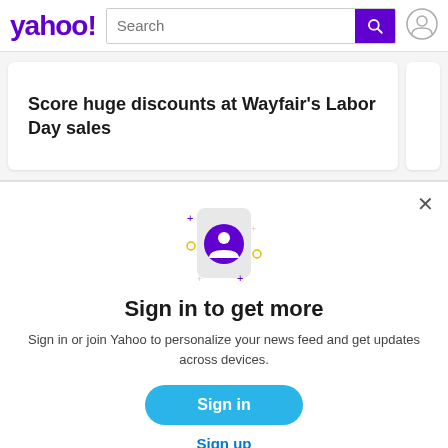yahoo! Search
Score huge discounts at Wayfair's Labor Day sales
[Figure (illustration): Phone with user profile icon illustration with sparkle decorations]
Sign in to get more
Sign in or join Yahoo to personalize your news feed and get updates across devices.
Sign in
Sign up